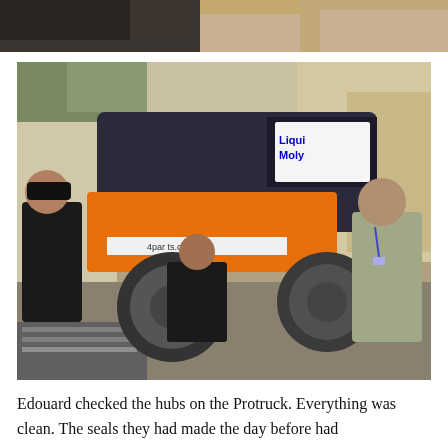[Figure (photo): Partial view of an off-road vehicle and person at the top of the page, cropped image showing dirt/sandy terrain.]
[Figure (photo): Three people working on an orange and dark blue off-road truck (Protruck) with Liqui Moly and 4parts.com sponsorship stickers. The truck is elevated and men are working underneath it. Tools are visible on the ground. Scene is outdoors in a desert/sandy setting.]
Edouard checked the hubs on the Protruck. Everything was clean. The seals they had made the day before had